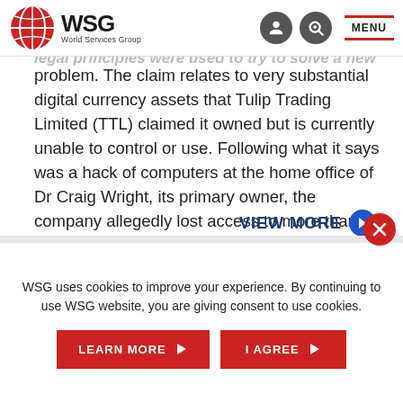WSG – World Services Group
court case involving... the... in the citycount... legal principles were used to try to solve a new problem. The claim relates to very substantial digital currency assets that Tulip Trading Limited (TTL) claimed it owned but is currently unable to control or use. Following what it says was a hack of computers at the home office of Dr Craig Wright, its primary owner, the company allegedly lost access to more than 111,000 bitcoins ...
VIEW MORE ›
WSG uses cookies to improve your experience. By continuing to use WSG website, you are giving consent to use cookies.
LEARN MORE ›
I AGREE ›